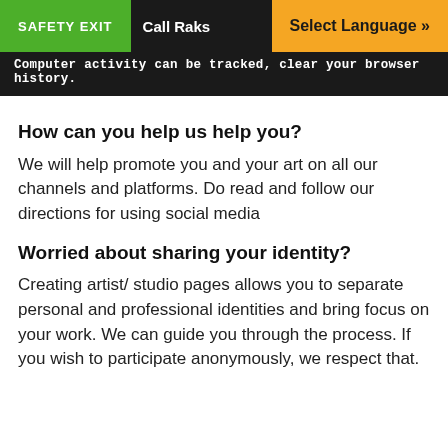SAFETY EXIT | Call Raks | Select Language »
Computer activity can be tracked, clear your browser history.
How can you help us help you?
We will help promote you and your art on all our channels and platforms. Do read and follow our directions for using social media
Worried about sharing your identity?
Creating artist/ studio pages allows you to separate personal and professional identities and bring focus on your work. We can guide you through the process. If you wish to participate anonymously, we respect that.